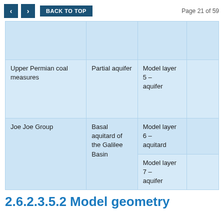< > BACK TO TOP   Page 21 of 59
|  |  |  |  |
| Upper Permian coal measures | Partial aquifer | Model layer 5 – aquifer |  |
| Joe Joe Group | Basal aquitard of the Galilee Basin | Model layer 6 – aquitard
Model layer 7 – aquifer |  |
2.6.2.3.5.2 Model geometry